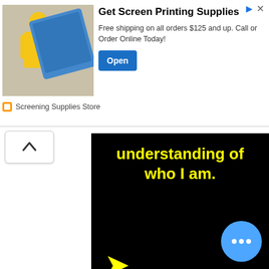[Figure (infographic): Advertisement banner for 'Screening Supplies Store' - Get Screen Printing Supplies, free shipping on orders $125 and up, with an Open button.]
understanding of who I am.
Do you feel like my website and reviews have helped you in your travels? Want to help keep this site up for everyone to enjoy? Feel free to make a donation so that everyone can continue to enjoy this site. All amounts are welcome and appreciated. A lot of work goes into making this site and it has grown so much that I now have monthly expenses in picture hosting, monthly site fees and domain. I appreciate you all!